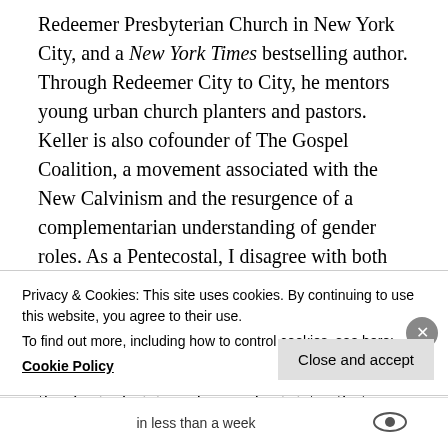Redeemer Presbyterian Church in New York City, and a New York Times bestselling author. Through Redeemer City to City, he mentors young urban church planters and pastors. Keller is also cofounder of The Gospel Coalition, a movement associated with the New Calvinism and the resurgence of a complementarian understanding of gender roles. As a Pentecostal, I disagree with both his Calvinism and complementarianism, though I hasten to add he doesn't make them points of contentions in his book. Regardless, I believe that Center Church offers a theological vision of gospel ministry that repays careful consideration by
Privacy & Cookies: This site uses cookies. By continuing to use this website, you agree to their use.
To find out more, including how to control cookies, see here: Cookie Policy
Close and accept
in less than a week